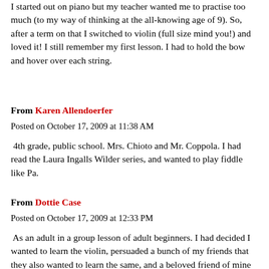I started out on piano but my teacher wanted me to practise too much (to my way of thinking at the all-knowing age of 9).  So, after a term on that I switched to violin (full size mind you!) and loved it! I still remember my first lesson. I had to hold the bow and hover over each string.
From Karen Allendoerfer
Posted on October 17, 2009 at 11:38 AM
4th grade, public school.  Mrs. Chioto and Mr. Coppola.  I had read the Laura Ingalls Wilder series, and wanted to play fiddle like Pa.
From Dottie Case
Posted on October 17, 2009 at 12:33 PM
As an adult in a group lesson of adult beginners.  I had decided I wanted to learn the violin, persuaded a bunch of my friends that they also wanted to learn the same, and a beloved friend of mine from